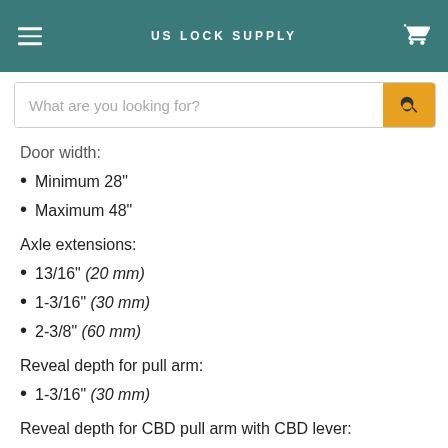US LOCK SUPPLY
Door width:
Minimum 28"
Maximum 48"
Axle extensions:
13/16" (20 mm)
1-3/16" (30 mm)
2-3/8" (60 mm)
Reveal depth for pull arm:
1-3/16" (30 mm)
Reveal depth for CBD pull arm with CBD lever: